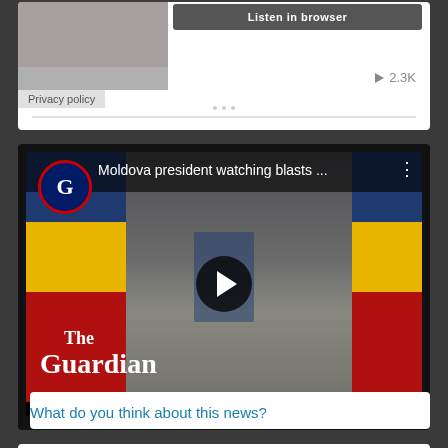[Figure (screenshot): Audio player card with thumbnail image, Listen in browser button, play count 2.3K, and Privacy policy label]
[Figure (screenshot): YouTube/Guardian video embed showing Moldova president watching blasts, with Guardian logo, play button overlay, The Guardian watermark, Moldovan flags in background]
What do you think about this news?